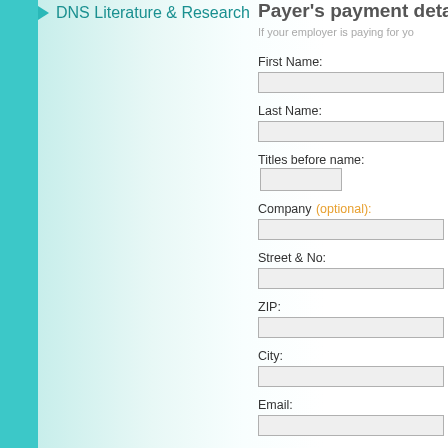DNS Literature & Research
Payer's payment details
If your employer is paying for yo...
First Name:
Last Name:
Titles before name:
Company (optional):
Street & No:
ZIP:
City:
Email:
ID:
VAT ID: